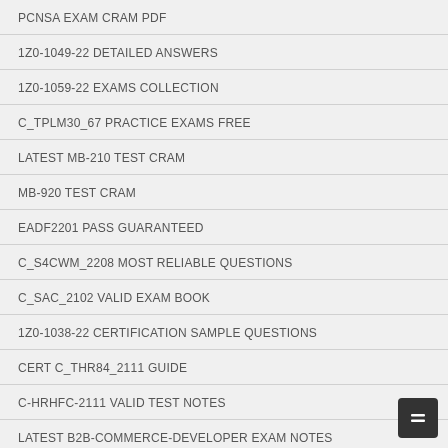PCNSA EXAM CRAM PDF
1Z0-1049-22 DETAILED ANSWERS
1Z0-1059-22 EXAMS COLLECTION
C_TPLM30_67 PRACTICE EXAMS FREE
LATEST MB-210 TEST CRAM
MB-920 TEST CRAM
EADF2201 PASS GUARANTEED
C_S4CWM_2208 MOST RELIABLE QUESTIONS
C_SAC_2102 VALID EXAM BOOK
1Z0-1038-22 CERTIFICATION SAMPLE QUESTIONS
CERT C_THR84_2111 GUIDE
C-HRHFC-2111 VALID TEST NOTES
LATEST B2B-COMMERCE-DEVELOPER EXAM NOTES
RELIABLE MS-700 REAL EXAM
RELIABLE C_TS462_2021 TEST SAMPLE